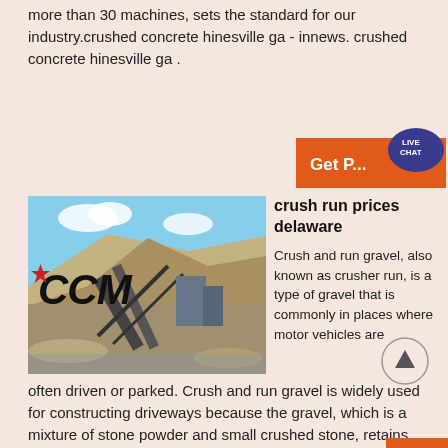more than 30 machines, sets the standard for our industry.crushed concrete hinesville ga - innews. crushed concrete hinesville ga .
[Figure (screenshot): Orange 'Get P...' button with a blue 'LIVE CHAT' speech bubble overlay in top-right area]
[Figure (photo): Quarry/crushing plant photo with CCM logo text overlay, showing conveyor belts and aggregate piles under blue sky]
crush run prices delaware
Crush and run gravel, also known as crusher run, is a type of gravel that is commonly in places where motor vehicles are often driven or parked. Crush and run gravel is widely used for constructing driveways because the gravel, which is a mixture of stone powder and small crushed stone, retains